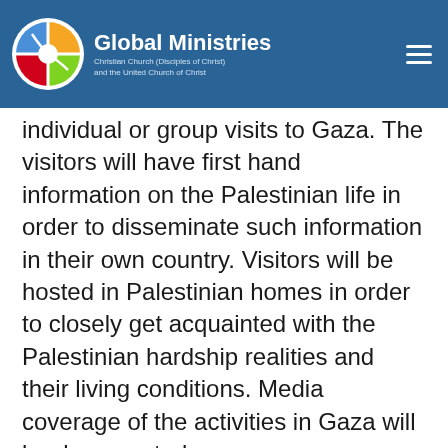Global Ministries — Christian Church (Disciples of Christ) and the United Church of Christ
individual or group visits to Gaza. The visitors will have first hand information on the Palestinian life in order to disseminate such information in their own country. Visitors will be hosted in Palestinian homes in order to closely get acquainted with the Palestinian hardship realities and their living conditions. Media coverage of the activities in Gaza will be documented.
We will rely on our Israeli friends to host and help our friends from abroad who, if not allowed to enter Gaza, are expected to stage